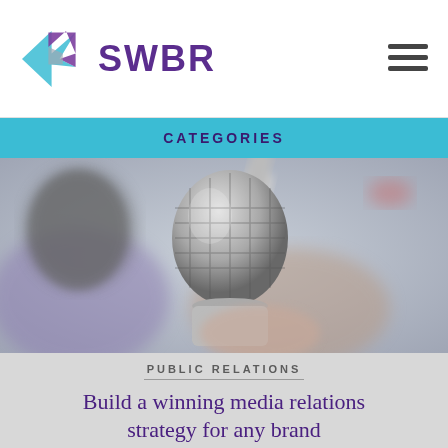SWBR
CATEGORIES
[Figure (photo): Close-up photo of a hand holding a silver microphone with a foam-covered microphone in the background, blurred background.]
PUBLIC RELATIONS
Build a winning media relations strategy for any brand
[Figure (photo): Circular avatar photo of a blonde woman.]